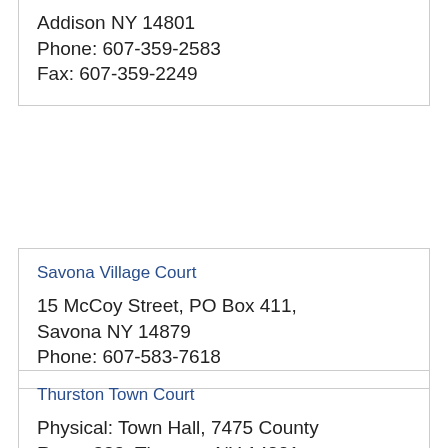Addison NY 14801
Phone: 607-359-2583
Fax: 607-359-2249
Savona Village Court
15 McCoy Street, PO Box 411, Savona NY 14879
Phone: 607-583-7618
Thurston Town Court
Physical: Town Hall, 7475 County Route 333, Thurston NY 14821